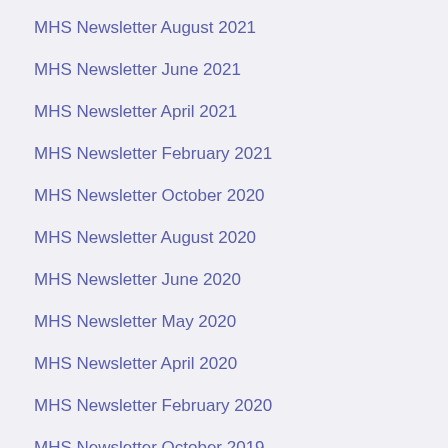MHS Newsletter August 2021
MHS Newsletter June 2021
MHS Newsletter April 2021
MHS Newsletter February 2021
MHS Newsletter October 2020
MHS Newsletter August 2020
MHS Newsletter June 2020
MHS Newsletter May 2020
MHS Newsletter April 2020
MHS Newsletter February 2020
MHS Newsletter October 2019